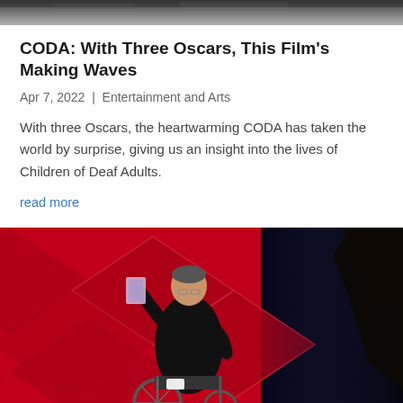[Figure (photo): Top partial photo strip, dark/gray tones, cropped at top of page]
CODA: With Three Oscars, This Film's Making Waves
Apr 7, 2022 | Entertainment and Arts
With three Oscars, the heartwarming CODA has taken the world by surprise, giving us an insight into the lives of Children of Deaf Adults.
read more
[Figure (photo): Person in a wheelchair in a black suit holding an award, on stage with a red geometric diamond-pattern backdrop and dark background on the right]